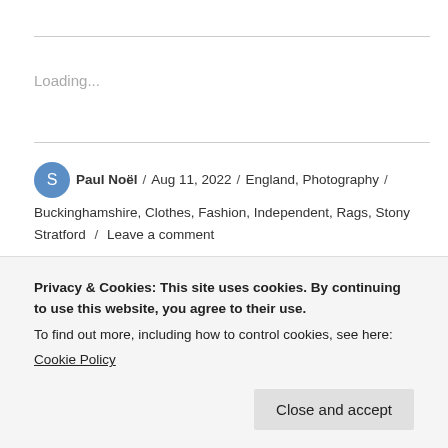Loading...
Paul Noël / Aug 11, 2022 / England, Photography / Buckinghamshire, Clothes, Fashion, Independent, Rags, Stony Stratford / Leave a comment
Privacy & Cookies: This site uses cookies. By continuing to use this website, you agree to their use.
To find out more, including how to control cookies, see here: Cookie Policy
Close and accept